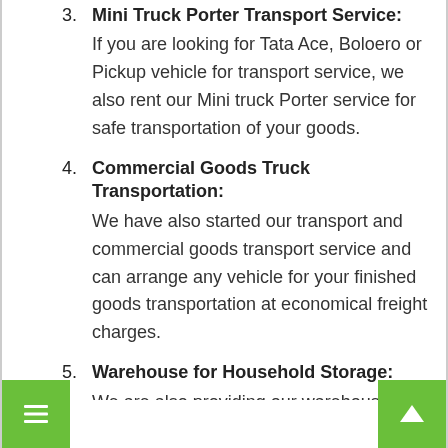3. Mini Truck Porter Transport Service: If you are looking for Tata Ace, Boloero or Pickup vehicle for transport service, we also rent our Mini truck Porter service for safe transportation of your goods.
4. Commercial Goods Truck Transportation: We have also started our transport and commercial goods transport service and can arrange any vehicle for your finished goods transportation at economical freight charges.
5. Warehouse for Household Storage: We are also providing our warehouse for Household storage. So if you are looking for storage facility in Basaura then we have a space for you. Just dial us for best possible solution for storage services.
6. Loading and Unloading Service: